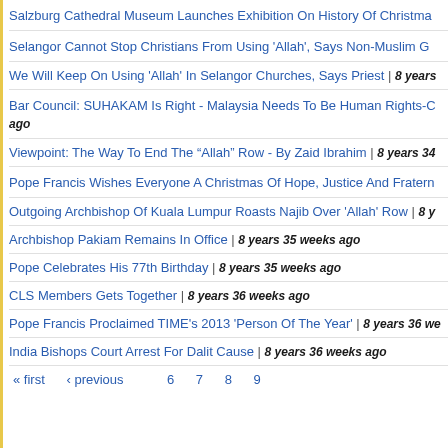Salzburg Cathedral Museum Launches Exhibition On History Of Christmas
Selangor Cannot Stop Christians From Using 'Allah', Says Non-Muslim G
We Will Keep On Using 'Allah' In Selangor Churches, Says Priest | 8 years
Bar Council: SUHAKAM Is Right - Malaysia Needs To Be Human Rights-C ... ago
Viewpoint: The Way To End The “Allah” Row - By Zaid Ibrahim | 8 years 34
Pope Francis Wishes Everyone A Christmas Of Hope, Justice And Fratern
Outgoing Archbishop Of Kuala Lumpur Roasts Najib Over 'Allah' Row | 8 y
Archbishop Pakiam Remains In Office | 8 years 35 weeks ago
Pope Celebrates His 77th Birthday | 8 years 35 weeks ago
CLS Members Gets Together | 8 years 36 weeks ago
Pope Francis Proclaimed TIME's 2013 'Person Of The Year' | 8 years 36 we
India Bishops Court Arrest For Dalit Cause | 8 years 36 weeks ago
« first   ‹ previous   6   7   8   9